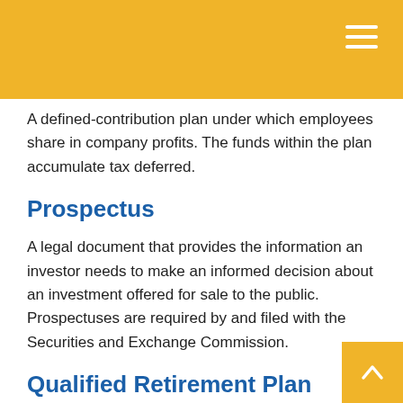A defined-contribution plan under which employees share in company profits. The funds within the plan accumulate tax deferred.
Prospectus
A legal document that provides the information an investor needs to make an informed decision about an investment offered for sale to the public. Prospectuses are required by and filed with the Securities and Exchange Commission.
Qualified Retirement Plan
A retirement plan that is established and operates within the rules laid down in Section 401(a) of the Internal Revenue Code, and thus receives favorable tax treatment.